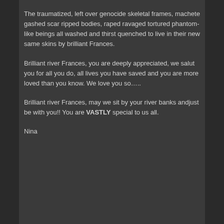The traumatized, left over genocide skeletal frames, machete gashed scar ripped bodies, raped ravaged tortured phantom-like beings all washed and thirst quenched to live in their new same skins by brilliant Frances.
Brilliant river Frances, you are deeply appreciated, we salut you for all you do, all lives you have saved and you are more loved than you know. We love you so…..
Brilliant river Frances, may we sit by your river banks andjust be with you!! You are VASTLY special to us all.
Nina